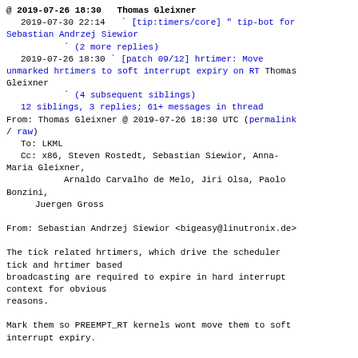@ 2019-07-26 18:30   Thomas Gleixner
  2019-07-30 22:14   ` [tip:timers/core] " tip-bot for Sebastian Andrzej Siewior
             ` (2 more replies)
  2019-07-26 18:30 ` [patch 09/12] hrtimer: Move unmarked hrtimers to soft interrupt expiry on RT Thomas Gleixner
                   ` (4 subsequent siblings)
  12 siblings, 3 replies; 61+ messages in thread
From: Thomas Gleixner @ 2019-07-26 18:30 UTC (permalink / raw)
  To: LKML
  Cc: x86, Steven Rostedt, Sebastian Siewior, Anna-Maria Gleixner,
        Arnaldo Carvalho de Melo, Jiri Olsa, Paolo Bonzini,
      Juergen Gross

From: Sebastian Andrzej Siewior <bigeasy@linutronix.de>

The tick related hrtimers, which drive the scheduler tick and hrtimer based
broadcasting are required to expire in hard interrupt context for obvious
reasons.

Mark them so PREEMPT_RT kernels wont move them to soft interrupt expiry.

No functional change.